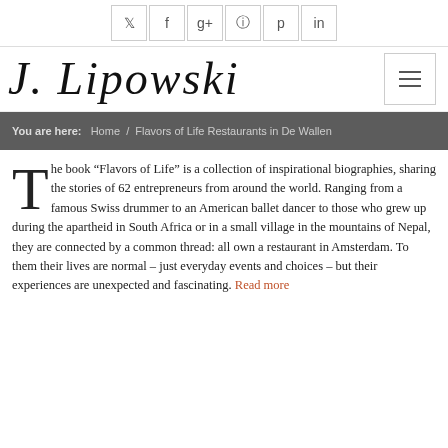Social icons: Twitter, Facebook, Google+, Instagram, Pinterest, LinkedIn
[Figure (logo): J. Lipowski cursive script logo with hamburger menu icon]
You are here:  Home  /  Flavors of Life Restaurants in De Wallen
The book “Flavors of Life” is a collection of inspirational biographies, sharing the stories of 62 entrepreneurs from around the world. Ranging from a famous Swiss drummer to an American ballet dancer to those who grew up during the apartheid in South Africa or in a small village in the mountains of Nepal, they are connected by a common thread: all own a restaurant in Amsterdam. To them their lives are normal – just everyday events and choices – but their experiences are unexpected and fascinating. Read more